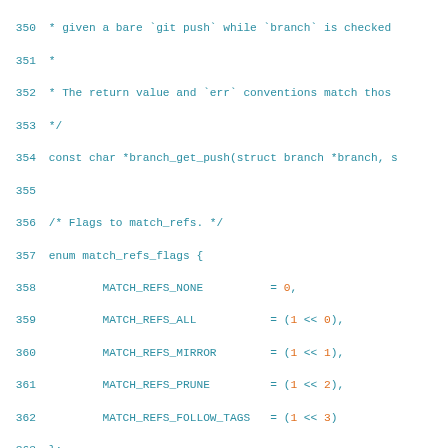Source code listing lines 350-379 showing C header file with enum definitions and function declarations for git branch operations.